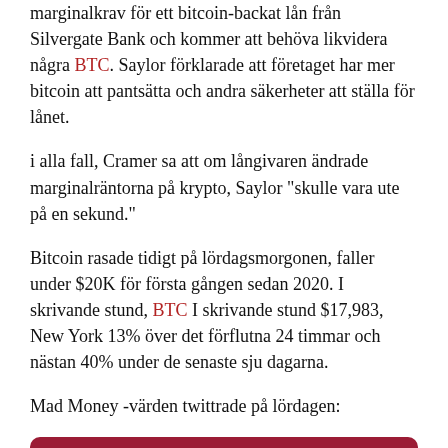marginalkrav för ett bitcoin-backat lån från Silvergate Bank och kommer att behöva likvidera några BTC. Saylor förklarade att företaget har mer bitcoin att pantsätta och andra säkerheter att ställa för lånet.
i alla fall, Cramer sa att om långivaren ändrade marginalräntorna på krypto, Saylor "skulle vara ute på en sekund."
Bitcoin rasade tidigt på lördagsmorgonen, faller under $20K för första gången sedan 2020. I skrivande stund, BTC I skrivande stund $17,983, New York 13% över det förflutna 24 timmar och nästan 40% under de senaste sju dagarna.
Mad Money -värden twittrade på lördagen:
[Figure (other): Dark red tweet card with a white bordered icon on the left and white text reading: Tio procent ner för bitcoin och du får några otäcka marginalanrop under helgen ...]